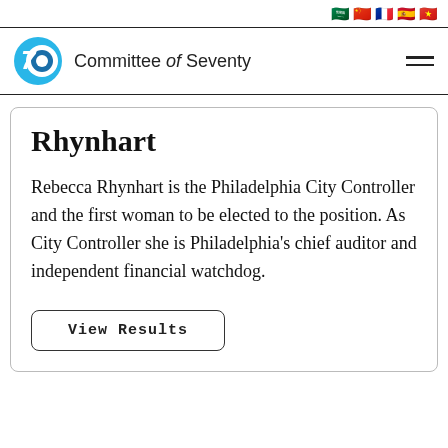[Figure (logo): Flag icons for multiple languages (Arabic, Chinese, French, Spanish, Vietnamese) in the top right corner]
[Figure (logo): Committee of Seventy logo — blue circular '70' icon with organization name]
Rhynhart
Rebecca Rhynhart is the Philadelphia City Controller and the first woman to be elected to the position. As City Controller she is Philadelphia's chief auditor and independent financial watchdog.
View Results